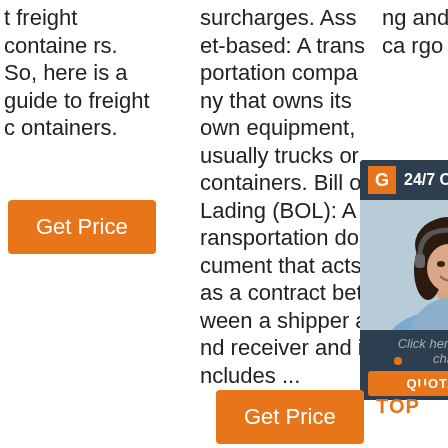t freight containers. So, here is a guide to freight containers.
[Figure (other): Orange 'Get Price' button in column 1]
surcharges. Asset-based: A transportation company that owns its own equipment, usually trucks or containers. Bill of Lading (BOL): A transportation document that acts as a contract between a shipper and receiver and includes ...
ng and online cargo tracking.
[Figure (other): 24/7 Online chat widget with photo of woman wearing headset, 'Click here for free chat!' text and QUOTATION button]
[Figure (other): Orange TOP button with dotted triangle arrow pointing up]
[Figure (other): Orange 'Get Price' button in column 2]